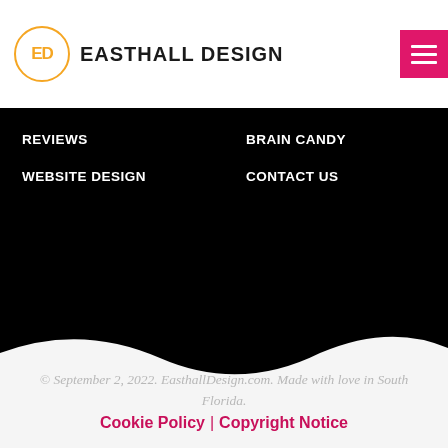[Figure (logo): Easthall Design logo: orange circle with 'ED' letters and company name in bold black uppercase text]
[Figure (other): Pink/magenta hamburger menu button with three white horizontal lines]
REVIEWS
BRAIN CANDY
WEBSITE DESIGN
CONTACT US
© September 2, 2022. EasthallDesign.com. Made with love in South Florida.
Cookie Policy | Copyright Notice